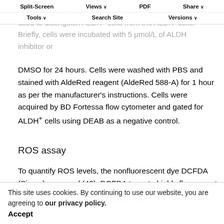The AldeRed ALDH detection assay (Millipore) was used to distinguish ALDH+ cells from the ALDH- cells. Briefly, cells were incubated with 5 μmol/L of ALDH inhibitor or DMSO for 24 hours. Cells were washed with PBS and stained with AldeRed reagent (AldeRed 588-A) for 1 hour as per the manufacturer's instructions. Cells were acquired by BD Fortessa flow cytometer and gated for ALDH+ cells using DEAB as a negative control.
ROS assay
To quantify ROS levels, the nonfluorescent dye DCFDA (Sigma) was used (43). DCFDA turns to highly fluorescent ... ROS generated ... at concentration of 90 μmol/L of ALDH inhibitor or DMSO for 24 hours. DCFDA (10 μmol/L)
Split-Screen   Views   PDF   Share   Tools   Search Site   Versions
This site uses cookies. By continuing to use our website, you are agreeing to our privacy policy. Accept